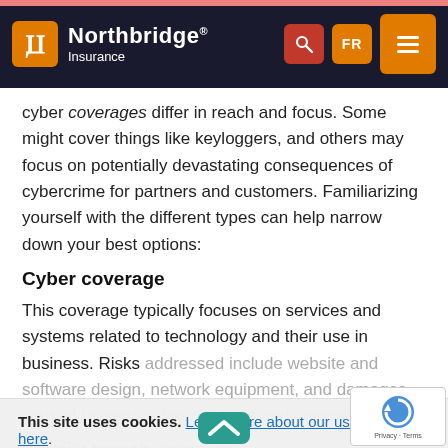Northbridge Insurance
cyber coverages differ in reach and focus. Some might cover things like keyloggers, and others may focus on potentially devastating consequences of cybercrime for partners and customers. Familiarizing yourself with the different types can help narrow down your best options:
Cyber coverage
This coverage typically focuses on services and systems related to technology and their use in business. Risks addressed include website and software design, network equipment, and damages caused by service interruptions and compromised devices.
This site uses cookies. Learn more about our use of cookies here.
Privacy breach coverage
This protects businesses in the event customer, consumer, or patient data is compromised or exposed.